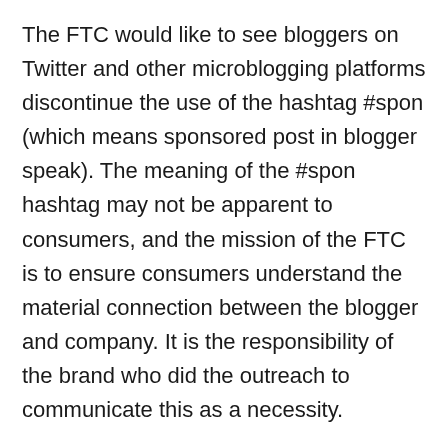The FTC would like to see bloggers on Twitter and other microblogging platforms discontinue the use of the hashtag #spon (which means sponsored post in blogger speak). The meaning of the #spon hashtag may not be apparent to consumers, and the mission of the FTC is to ensure consumers understand the material connection between the blogger and company. It is the responsibility of the brand who did the outreach to communicate this as a necessity.
#Ad is much more clear to everyday people that what they are seeing is an ad of some sort, whether the post is paid for which each